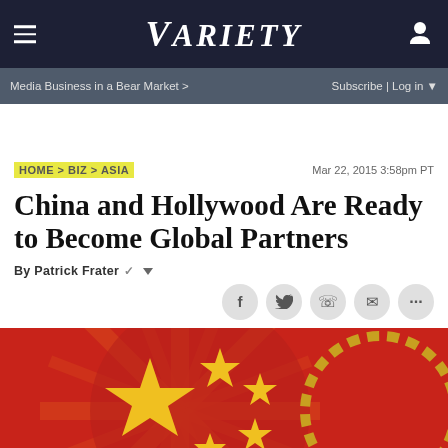VARIETY
Media Business in a Bear Market > | Subscribe | Log in
HOME > BIZ > ASIA | Mar 22, 2015 3:58pm PT
China and Hollywood Are Ready to Become Global Partners
By Patrick Frater
[Figure (illustration): Graphic showing Chinese flag stars and film reel imagery on red and orange background with radiating sunburst pattern]